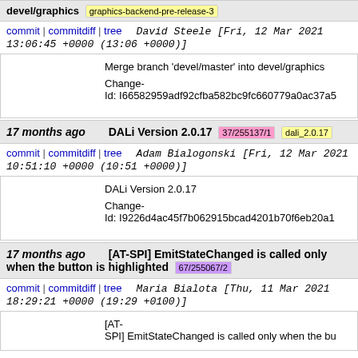devel/graphics  graphics-backend-pre-release-3
commit | commitdiff | tree   David Steele [Fri, 12 Mar 2021 13:06:45 +0000 (13:06 +0000)]
Merge branch 'devel/master' into devel/graphics

Change-Id: I66582959adf92cfba582bc9fc660779a0ac37a5
17 months ago   DALi Version 2.0.17  37/255137/1  dali_2.0.17
commit | commitdiff | tree   Adam Bialogonski [Fri, 12 Mar 2021 10:51:10 +0000 (10:51 +0000)]
DALi Version 2.0.17

Change-Id: I9226d4ac45f7b062915bcad4201b70f6eb20a1
17 months ago   [AT-SPI] EmitStateChanged is called only when the button is highlighted  67/255067/2
commit | commitdiff | tree   Maria Bialota [Thu, 11 Mar 2021 18:29:21 +0000 (19:29 +0100)]
[AT-SPI] EmitStateChanged is called only when the bu